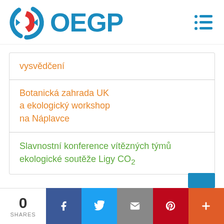[Figure (logo): OEGP logo with circular blue/red icon and blue OEGP wordmark, plus hamburger menu icon]
vysvědčení
Botanická zahrada UK a ekologický workshop na Náplavce
Slavnostní konference vítězných týmů ekologické soutěže Ligy CO₂
0 SHARES